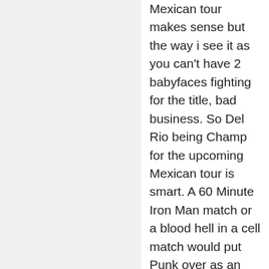Mexican tour makes sense but the way i see it as you can't have 2 babyfaces fighting for the title, bad business. So Del Rio being Champ for the upcoming Mexican tour is smart. A 60 Minute Iron Man match or a blood hell in a cell match would put Punk over as an icon for life, but blood ain't going to happen yet so a 60 minute Iron man match would be epic.

I'm guessing, though, that Cena will face Del Rio. And i think they'll slowly
[Figure (other): Jetpack advertisement banner with green background, Jetpack logo on left and 'Back up your site' button on right]
Advertisements